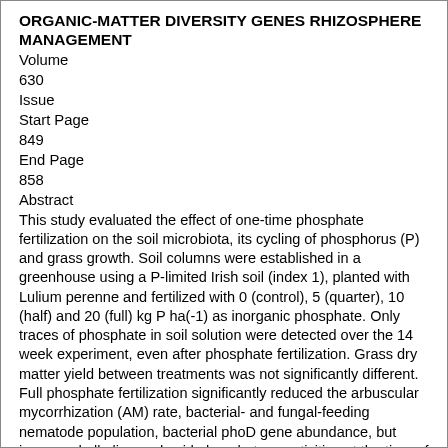ORGANIC-MATTER DIVERSITY GENES RHIZOSPHERE MANAGEMENT
Volume
630
Issue
Start Page
849
End Page
858
Abstract
This study evaluated the effect of one-time phosphate fertilization on the soil microbiota, its cycling of phosphorus (P) and grass growth. Soil columns were established in a greenhouse using a P-limited Irish soil (index 1), planted with Lulium perenne and fertilized with 0 (control), 5 (quarter), 10 (half) and 20 (full) kg P ha(-1) as inorganic phosphate. Only traces of phosphate in soil solution were detected over the 14 week experiment, even after phosphate fertilization. Grass dry matter yield between treatments was not significantly different. Full phosphate fertilization significantly reduced the arbuscular mycorrhization (AM) rate, bacterial- and fungal-feeding nematode population, bacterial phoD gene abundance, but increased alkaline and acid phosphatase activities at the time of harvest. Full and half P treatments significantly shifted the bacterial, fungal and AM community structures